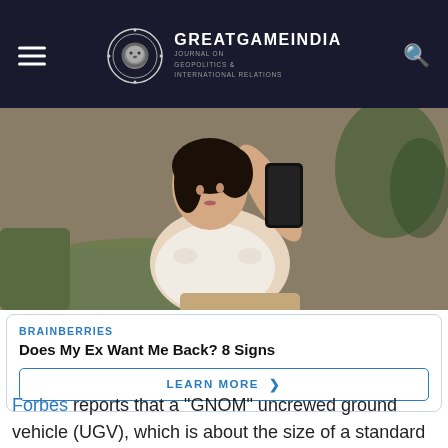GREATGAMEINDIA
JOURNAL ON GEOPOLITICS & INTERNATIONAL RELATIONS
[Figure (photo): Young Asian woman sitting on a couch, looking at a smartphone held up near her face]
BRAINBERRIES
Does My Ex Want Me Back? 8 Signs
LEARN MORE >
Forbes reports that a "GNOM" uncrewed ground vehicle (UGV), which is about the size of a standard microwave and weighs around 110